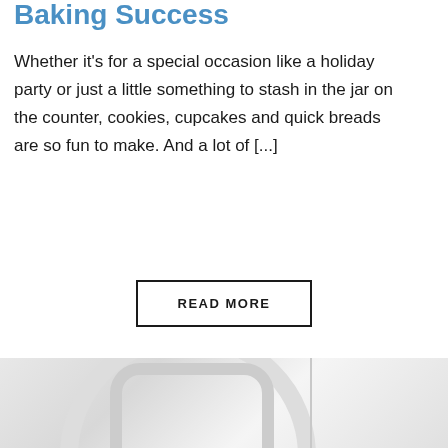Baking Success
Whether it's for a special occasion like a holiday party or just a little something to stash in the jar on the counter, cookies, cupcakes and quick breads are so fun to make. And a lot of [...]
READ MORE
[Figure (photo): A white plate or baking dish photographed from above, with a vertical divider line visible to the right, white background, light and airy product/food photography style.]